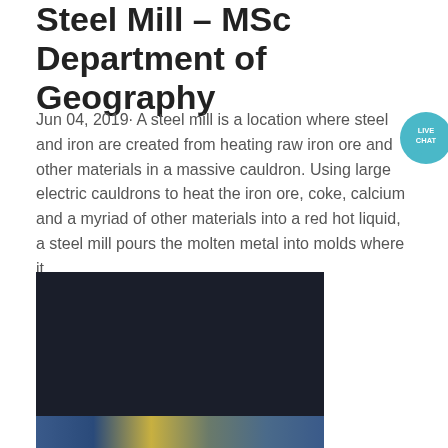Steel Mill – MSc Department of Geography
Jun 04, 2019· A steel mill is a location where steel and iron are created from heating raw iron ore and other materials in a massive cauldron. Using large electric cauldrons to heat the iron ore, coke, calcium and a myriad of other materials into a red hot liquid, a steel mill pours the molten metal into molds where it ...
[Figure (photo): A dark photograph of a steel mill interior, with industrial equipment visible at the bottom edge including blue structures and yellow/tan colored panels.]